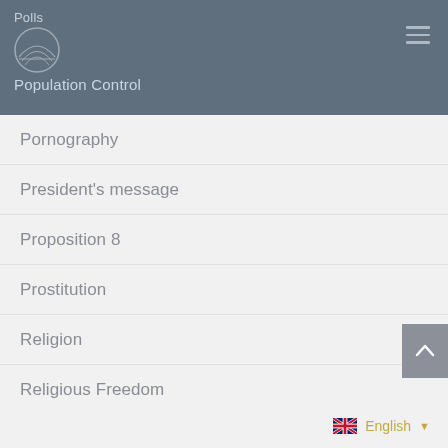Polls
Population Control
Pornography
President's message
Proposition 8
Prostitution
Religion
Religious Freedom
Religious rights
Research
Same-Sex Attraction
Same-Sex Marriage
Sanctity of Life
English